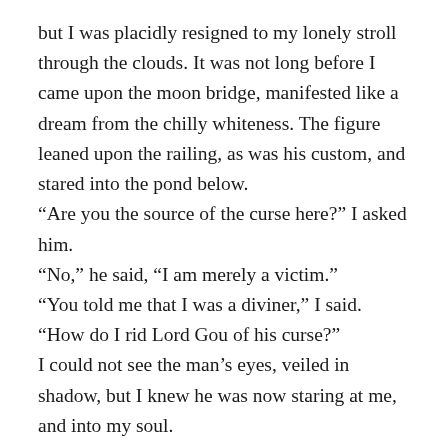but I was placidly resigned to my lonely stroll through the clouds. It was not long before I came upon the moon bridge, manifested like a dream from the chilly whiteness. The figure leaned upon the railing, as was his custom, and stared into the pond below.
“Are you the source of the curse here?” I asked him.
“No,” he said, “I am merely a victim.”
“You told me that I was a diviner,” I said. “How do I rid Lord Gou of his curse?”
I could not see the man’s eyes, veiled in shadow, but I knew he was now staring at me, and into my soul.
“Lord Gou is the curse here,” he said.
All was dreaminess, but perplexity had its place. “In what way?” I said.
“All living are cursed in some way. You are cursed with